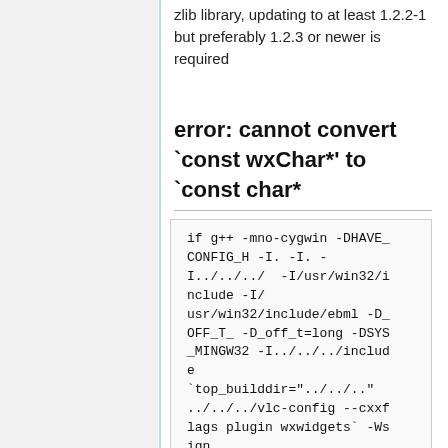zlib library, updating to at least 1.2.2-1 but preferably 1.2.3 or newer is required
error: cannot convert `const wxChar*' to `const char*
if g++ -mno-cygwin -DHAVE_CONFIG_H -I. -I. -I../../../  -I/usr/win32/include -I/usr/win32/include/ebml -D_OFF_T_ -D_off_t=long -DSYS_MINGW32 -I../../../include `top_builddir="../../.." ../../../vlc-config --cxxflags plugin wxwidgets` -Wsign -compare -Wsign-compare -Wall  -mms-bitfields -pipe -MT libwxwidgets_plugin_a-